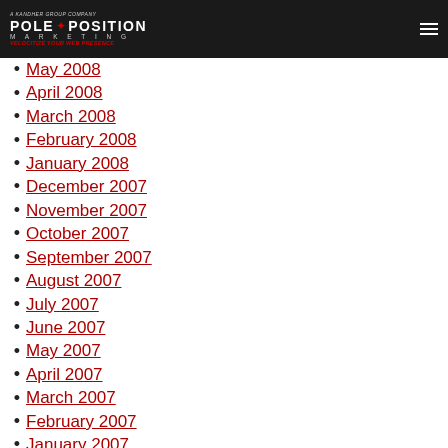Pole Position Marketing — A Kandher Group Company — Velocitize Your Web Presence
May 2008
April 2008
March 2008
February 2008
January 2008
December 2007
November 2007
October 2007
September 2007
August 2007
July 2007
June 2007
May 2007
April 2007
March 2007
February 2007
January 2007
December 2006
November 2006